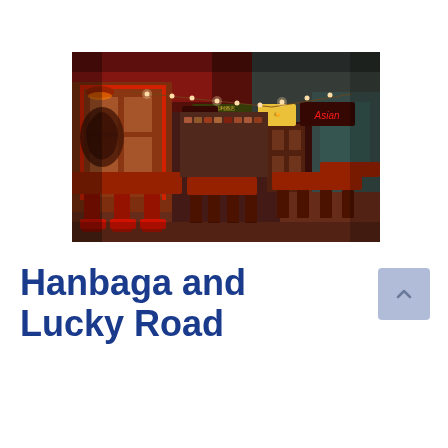[Figure (photo): Interior of a restaurant with red and orange lighting, red chairs and stools, dark wooden tables, string lights hanging from ceiling, Asian-themed signage including 'Lucky Hotel' and 'Asian' neon signs, murals on walls, eclectic decor.]
Hanbaga and Lucky Road